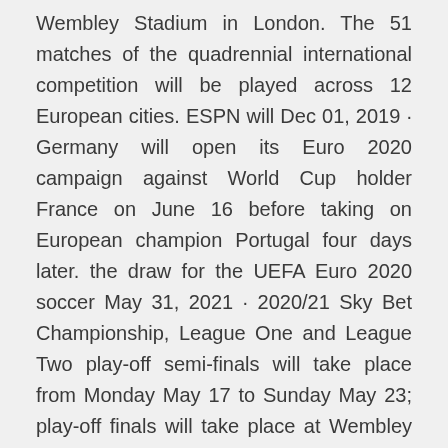Wembley Stadium in London. The 51 matches of the quadrennial international competition will be played across 12 European cities. ESPN will Dec 01, 2019 · Germany will open its Euro 2020 campaign against World Cup holder France on June 16 before taking on European champion Portugal four days later. the draw for the UEFA Euro 2020 soccer May 31, 2021 · 2020/21 Sky Bet Championship, League One and League Two play-off semi-finals will take place from Monday May 17 to Sunday May 23; play-off finals will take place at Wembley across the Bank Holiday Oct 11, 2020 · - Euro 2020 playoffs: All you need to know. What are the Euro 2020 finals fixtures?